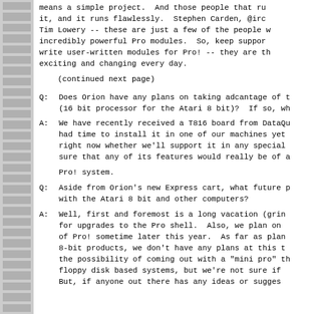means a simple project.  And those people that run it, and it runs flawlessly.  Stephen Carden, @irc Tim Lowery -- these are just a few of the people w incredibly powerful Pro modules.  So, keep support write user-written modules for Pro! -- they are th exciting and changing every day.
(continued next page)
Q: Does Orion have any plans on taking adcantage of (16 bit processor for the Atari 8 bit)?  If so, wh
A: We have recently received a T816 board from DataQu had time to install it in one of our machines yet right now whether we'll support it in any special sure that any of its features would really be of a
Pro! system.
Q: Aside from Orion's new Express cart, what future p with the Atari 8 bit and other computers?
A: Well, first and foremost is a long vacation (grin for upgrades to the Pro shell.  Also, we plan on of Pro! sometime later this year.  As far as plan 8-bit products, we don't have any plans at this t the possibility of coming out with a "mini pro" th floppy disk based systems, but we're not sure if But, if anyone out there has any ideas or sugges